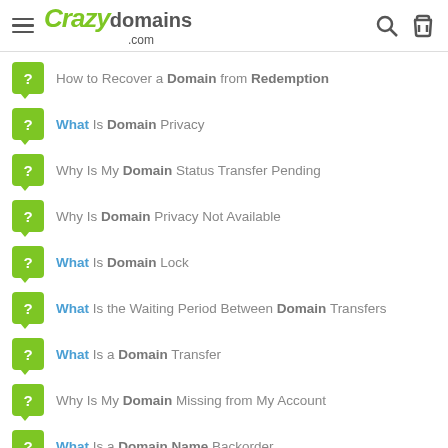Crazy domains .com
How to Recover a Domain from Redemption
What Is Domain Privacy
Why Is My Domain Status Transfer Pending
Why Is Domain Privacy Not Available
What Is Domain Lock
What Is the Waiting Period Between Domain Transfers
What Is a Domain Transfer
Why Is My Domain Missing from My Account
What Is a Domain Name Backorder
What Is a Domain Name